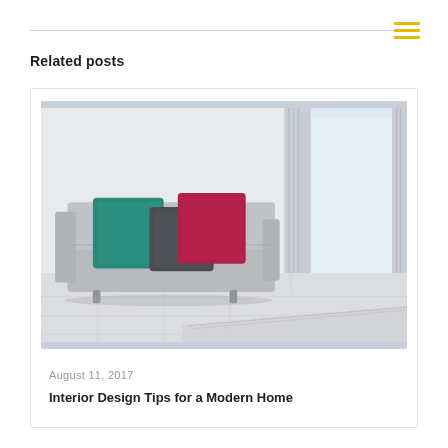Related posts
[Figure (photo): Interior photo of a modern living room with a grey sofa, three decorative pillows (teal, dark grey, and magenta/red), white walls, and white curtains by a window. A textured rug is partially visible in the foreground.]
August 11, 2017
Interior Design Tips for a Modern Home